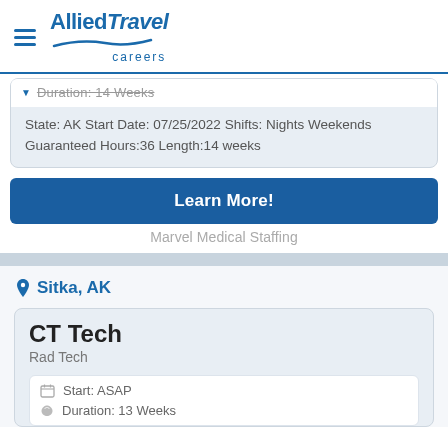[Figure (logo): Allied Travel Careers logo with hamburger menu icon]
Duration: 14 Weeks
State: AK Start Date: 07/25/2022 Shifts: Nights Weekends Guaranteed Hours:36 Length:14 weeks
Learn More!
Marvel Medical Staffing
Sitka, AK
CT Tech
Rad Tech
Start: ASAP
Duration: 13 Weeks